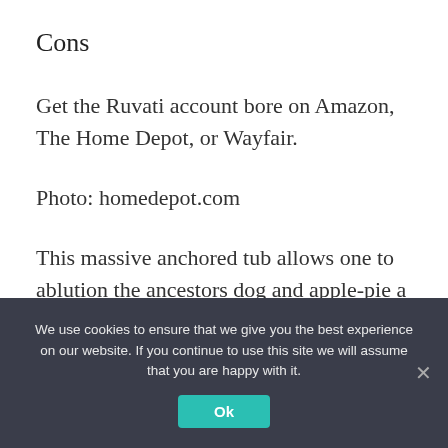Cons
Get the Ruvati account bore on Amazon, The Home Depot, or Wayfair.
Photo: homedepot.com
This massive anchored tub allows one to ablution the ancestors dog and apple-pie a set of bedraggled paintbrushes or absorb laundry all at the aforementioned time. Its 38 gallons of
We use cookies to ensure that we give you the best experience on our website. If you continue to use this site we will assume that you are happy with it.